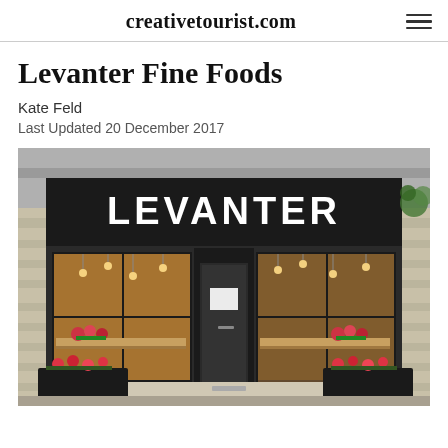creativetourist.com
Levanter Fine Foods
Kate Feld
Last Updated 20 December 2017
[Figure (photo): Exterior storefront of Levanter restaurant. Black fascia with large white text 'LEVANTER'. Stone-built building with large windows showing warm interior lighting, pendant bulbs, and flower boxes. Black planter boxes with red flowers at street level.]